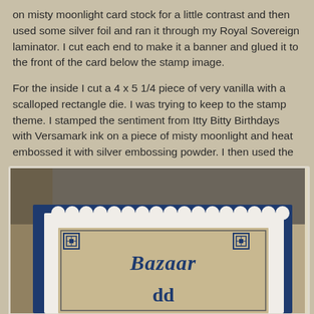on misty moonlight card stock for a little contrast and then used some silver foil and ran it through my Royal Sovereign laminator. I cut each end to make it a banner and glued it to the front of the card below the stamp image.
For the inside I cut a 4 x 5 1/4 piece of very vanilla with a scalloped rectangle die. I was trying to keep to the stamp theme. I stamped the sentiment from Itty Bitty Birthdays with Versamark ink on a piece of misty moonlight and heat embossed it with silver embossing powder. I then used the rectangular postage stamp punch and cut it out and popped it up with dimensionals.
[Figure (photo): Close-up photo of a handmade greeting card with a navy blue cardstock border and a scalloped white inner layer. In the center is a postage stamp style element with decorative corners showing the word 'Bazaar' in navy blue text on a textured beige/tan background.]